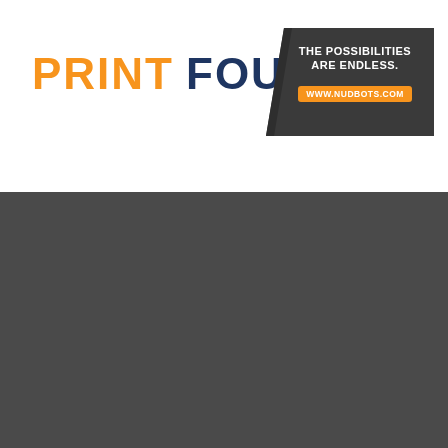PRINT FOUNTAIN
[Figure (logo): Dark badge with text 'THE POSSIBILITIES ARE ENDLESS.' and URL button 'WWW.NUDBOTS.COM']
[Figure (illustration): Dark gray lower half of page, approximately 55% of page height, solid charcoal/dark gray color]